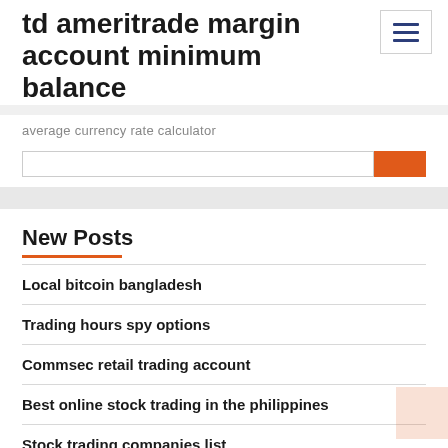td ameritrade margin account minimum balance
average currency rate calculator
New Posts
Local bitcoin bangladesh
Trading hours spy options
Commsec retail trading account
Best online stock trading in the philippines
Stock trading companies list